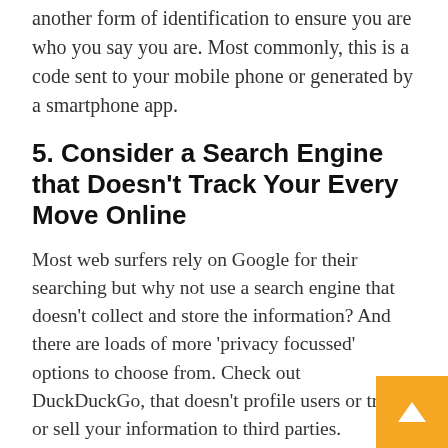another form of identification to ensure you are who you say you are. Most commonly, this is a code sent to your mobile phone or generated by a smartphone app.
5. Consider a Search Engine that Doesn't Track Your Every Move Online
Most web surfers rely on Google for their searching but why not use a search engine that doesn't collect and store the information? And there are loads of more 'privacy focussed' options to choose from. Check out DuckDuckGo, that doesn't profile users or track or sell your information to third parties.
6. Protect Your Digital Life
Comprehensive security protection software i easy way to help firm up your online privacy too as